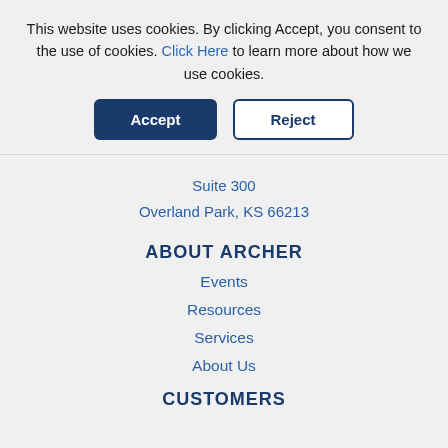This website uses cookies. By clicking Accept, you consent to the use of cookies. Click Here to learn more about how we use cookies.
Suite 300
Overland Park, KS 66213
ABOUT ARCHER
Events
Resources
Services
About Us
CUSTOMERS